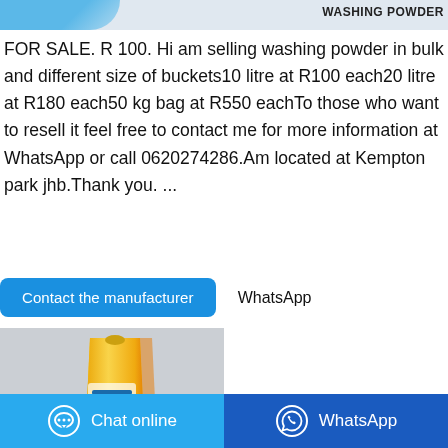[Figure (photo): Top partial product image strip with blue shape on left and 'WASHING POWDER' label on right]
FOR SALE. R 100. Hi am selling washing powder in bulk and different size of buckets10 litre at R100 each20 litre at R180 each50 kg bag at R550 eachTo those who want to resell it feel free to contact me for more information at WhatsApp or call 0620274286.Am located at Kempton park jhb.Thank you. ...
Contact the manufacturer   WhatsApp
[Figure (photo): Yellow washing powder bag product photo on grey background]
The Green Labs LLC. – Bulk
Chat online
WhatsApp